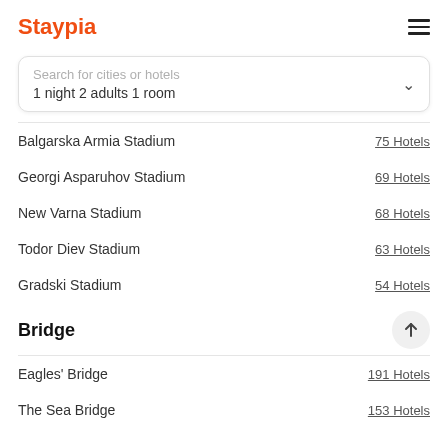Staypia
Search for cities or hotels
1 night 2 adults 1 room
Balgarska Armia Stadium — 75 Hotels
Georgi Asparuhov Stadium — 69 Hotels
New Varna Stadium — 68 Hotels
Todor Diev Stadium — 63 Hotels
Gradski Stadium — 54 Hotels
Bridge
Eagles' Bridge — 191 Hotels
The Sea Bridge — 153 Hotels